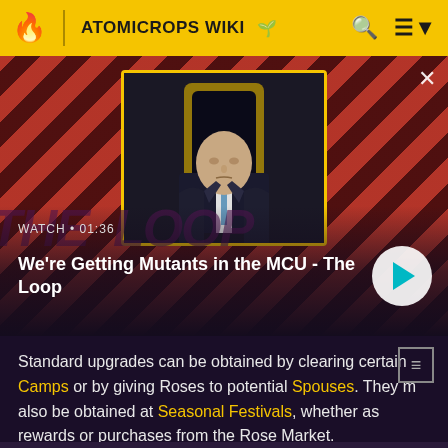ATOMICROPS WIKI
[Figure (screenshot): Video thumbnail showing a bald man in a suit seated in a chair, on a red-and-dark diagonal striped background, with 'THE LOOP' watermark text. Shows WATCH • 01:36 timer. Title: We're Getting Mutants in the MCU - The Loop. Play button on right.]
Standard upgrades can be obtained by clearing certain Camps or by giving Roses to potential Spouses. They may also be obtained at Seasonal Festivals, whether as rewards or purchases from the Rose Market.